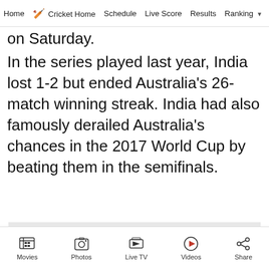Home | Cricket Home | Schedule | Live Score | Results | Ranking
on Saturday.
In the series played last year, India lost 1-2 but ended Australia's 26-match winning streak. India had also famously derailed Australia's chances in the 2017 World Cup by beating them in the semifinals.
[Figure (other): Advertisement placeholder box with grey background and 'Advertisement' label]
Movies | Photos | Live TV | Videos | Share